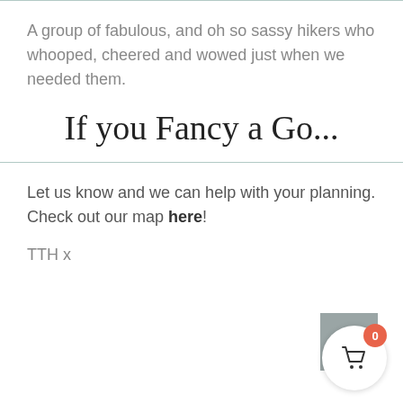A group of fabulous, and oh so sassy hikers who whooped, cheered and wowed just when we needed them.
If you Fancy a Go...
Let us know and we can help with your planning. Check out our map here!
TTH x